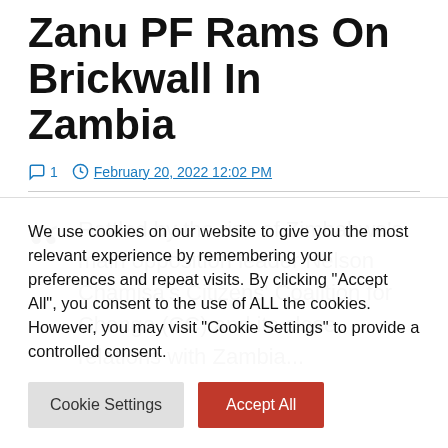Zanu PF Rams On Brickwall In Zambia
1   February 20, 2022 12:02 PM
Rattled by the rise of Zimbabwe's main opposition leader Nelson Chamisa's Citizens' Coalition for Change (CC) and its close relations with Zambia...
We use cookies on our website to give you the most relevant experience by remembering your preferences and repeat visits. By clicking "Accept All", you consent to the use of ALL the cookies. However, you may visit "Cookie Settings" to provide a controlled consent.